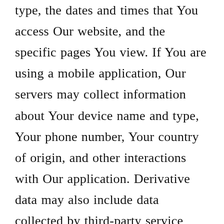type, the dates and times that You access Our website, and the specific pages You view. If You are using a mobile application, Our servers may collect information about Your device name and type, Your phone number, Your country of origin, and other interactions with Our application. Derivative data may also include data collected by third-party service providers, such as advertising and analytics providers, and may include cookies, log data, or web beacons. Cookies are discussed more fully below. Derivative data collected by third-party service providers generally does not identify a specific individual